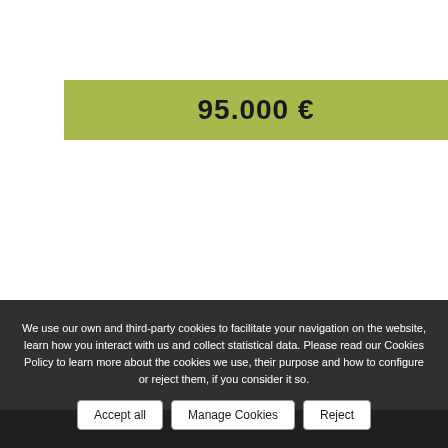95.000 €
Piso – Chipiona (Crta. Rota)
QUESTION?
We use our own and third-party cookies to facilitate your navigation on the website, learn how you interact with us and collect statistical data. Please read our Cookies Policy to learn more about the cookies we use, their purpose and how to configure or reject them, if you consider it so.
Accept all | Manage Cookies | Reject